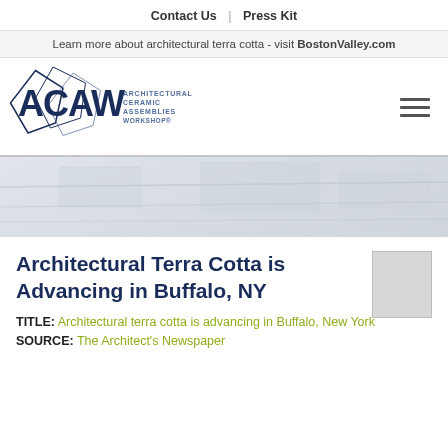Contact Us | Press Kit
Learn more about architectural terra cotta - visit BostonValley.com
[Figure (logo): ACAW Architectural Ceramic Assemblies Workshop logo with geometric diamond/triangle shapes in navy blue]
[Figure (photo): Light grey/blue faded hero image of architectural terra cotta surfaces]
Architectural Terra Cotta is Advancing in Buffalo, NY
TITLE: Architectural terra cotta is advancing in Buffalo, New York
SOURCE: The Architect's Newspaper